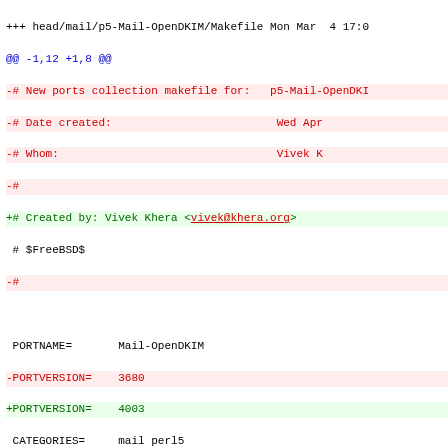Diff output of a Makefile for p5-Mail-OpenDKIM port, showing changes to version, license, and dependencies.